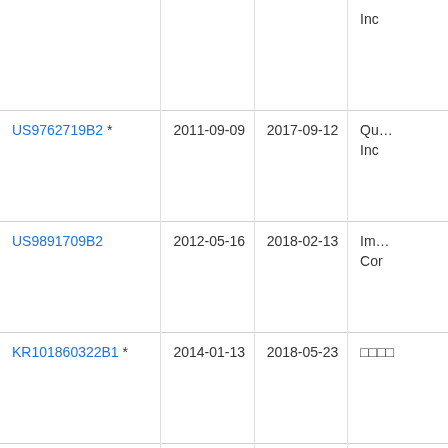| Patent Number | Filing Date | Publication Date | Assignee |
| --- | --- | --- | --- |
|  |  |  | Inc |
| US9762719B2 * | 2011-09-09 | 2017-09-12 | Qu… Inc |
| US9891709B2 | 2012-05-16 | 2018-02-13 | Im… Cor |
| KR101860322B1 * | 2014-01-13 | 2018-05-23 | □□□□ |
| CN105119984B * | 2015-08-07 | 2019-03-08 | □□□□ |